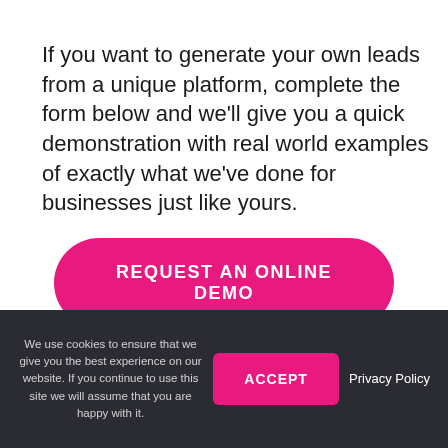If you want to generate your own leads from a unique platform, complete the form below and we'll give you a quick demonstration with real world examples of exactly what we've done for businesses just like yours.
[Figure (other): Pink rounded button with white bold uppercase text reading 'REQUEST AN ONLINE DEMO']
We use cookies to ensure that we give you the best experience on our website. If you continue to use this site we will assume that you are happy with it.
ACCEPT
Privacy Policy